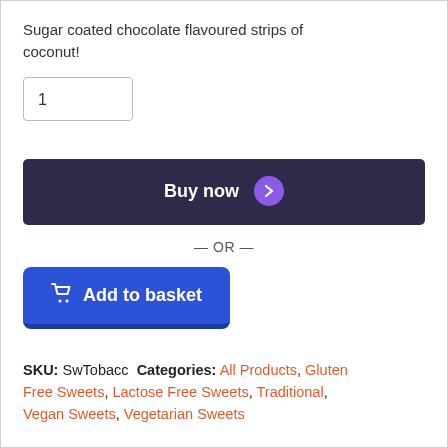Sugar coated chocolate flavoured strips of coconut!
1
Buy now
— OR —
Add to basket
SKU: SwTobacc Categories: All Products, Gluten Free Sweets, Lactose Free Sweets, Traditional, Vegan Sweets, Vegetarian Sweets